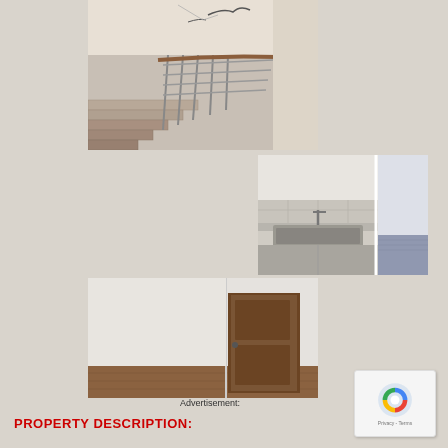[Figure (photo): Interior staircase with metal/wood railing, view from top looking down, beige/cream walls]
[Figure (photo): Kitchen area with stainless steel sink and countertop, tiled backsplash, carpet visible to the right]
[Figure (photo): Empty room with brown wooden door, wood laminate flooring, white walls]
Advertisement:
PROPERTY DESCRIPTION: